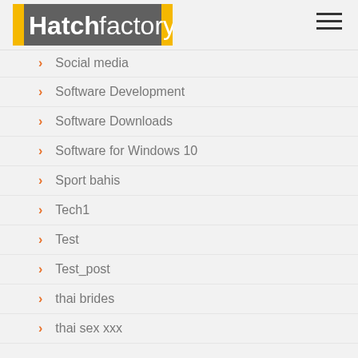Hatchfactory
Social media
Software Development
Software Downloads
Software for Windows 10
Sport bahis
Tech1
Test
Test_post
thai brides
thai sex xxx